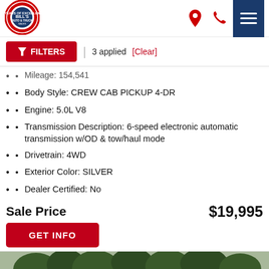[Figure (logo): Bill's Auto & Truck Sales circular logo with red, white and blue colors]
Bill's Auto & Truck Sales header with location, phone, and menu icons
FILTERS | 3 applied [Clear]
Mileage: 154,541
Body Style: CREW CAB PICKUP 4-DR
Engine: 5.0L V8
Transmission Description: 6-speed electronic automatic transmission w/OD & tow/haul mode
Drivetrain: 4WD
Exterior Color: SILVER
Dealer Certified: No
Sale Price    $19,995
GET INFO
[Figure (photo): Outdoor photo of a vehicle on a lot with trees in the background]